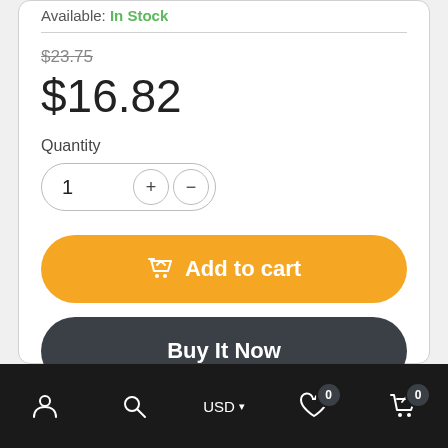Available: In Stock
$23.75
$16.82
Quantity
[Figure (screenshot): Quantity selector with +/- buttons, showing value 1]
[Figure (screenshot): Add to cart button (yellow/gold)]
[Figure (screenshot): Buy It Now button (dark gray)]
Wishlist   Compare
[Figure (screenshot): Bottom navigation bar with user, search, USD currency, wishlist (0), and cart (0) icons]